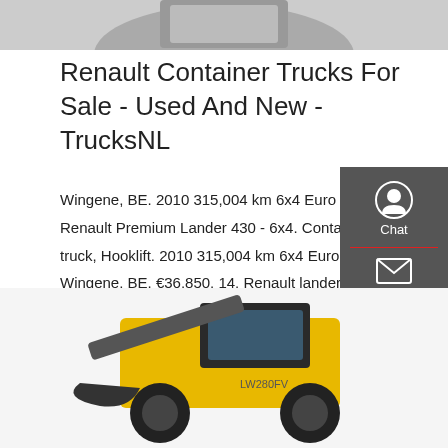[Figure (photo): Partial top image of a truck, cropped at the top of the page]
Renault Container Trucks For Sale - Used And New - TrucksNL
Wingene, BE. 2010 315,004 km 6x4 Euro 5. Renault Premium Lander 430 - 6x4. Container truck, Hooklift. 2010 315,004 km 6x4 Euro 5. Wingene, BE. €36,850. 14. Renault lander 410 DXI hook system very clean!
[Figure (other): Get a quote red call-to-action button]
[Figure (other): Dark sidebar with Chat, Email, and Contact icons]
[Figure (photo): Yellow construction loader/wheel loader vehicle (LW280FV model) photographed on a white background]